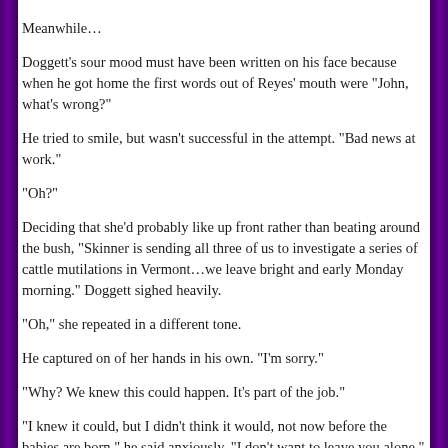Meanwhile…
Doggett's sour mood must have been written on his face because when he got home the first words out of Reyes' mouth were "John, what's wrong?"
He tried to smile, but wasn't successful in the attempt. "Bad news at work."
"Oh?"
Deciding that she'd probably like up front rather than beating around the bush, "Skinner is sending all three of us to investigate a series of cattle mutilations in Vermont…we leave bright and early Monday morning." Doggett sighed heavily.
"Oh," she repeated in a different tone.
He captured on of her hands in his own. "I'm sorry."
"Why? We knew this could happen. It's part of the job."
"I knew it could, but I didn't think it would, not now before the babies are born," he said anxiously. "I don't want to leave you alone."